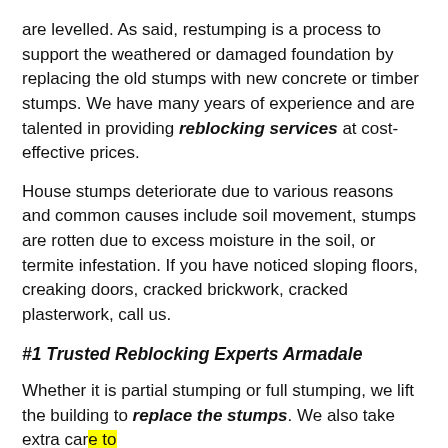are levelled. As said, restumping is a process to support the weathered or damaged foundation by replacing the old stumps with new concrete or timber stumps. We have many years of experience and are talented in providing reblocking services at cost-effective prices.
House stumps deteriorate due to various reasons and common causes include soil movement, stumps are rotten due to excess moisture in the soil, or termite infestation. If you have noticed sloping floors, creaking doors, cracked brickwork, cracked plasterwork, call us.
#1 Trusted Reblocking Experts Armadale
Whether it is partial stumping or full stumping, we lift the building to replace the stumps. We also take extra care to make sure that floors are not cracked while lifting the house. We use the jacking method for lifting the house. Once completed, the house is slowly allowed to rest on the stumps.